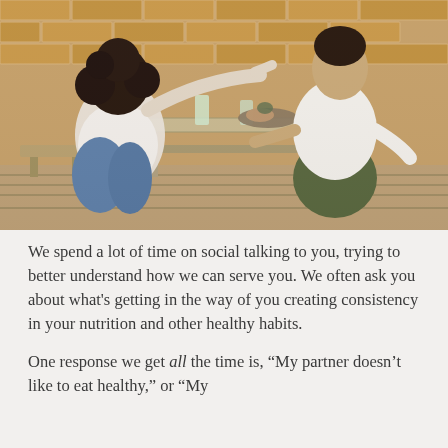[Figure (photo): A couple sitting cross-legged at a rustic wooden outdoor table with a brick wall background. The woman on the left has curly dark hair and a white top, reaching across to feed or touch the man on the right who wears a white t-shirt and olive green pants. There are drinks and food on the table.]
We spend a lot of time on social talking to you, trying to better understand how we can serve you. We often ask you about what's getting in the way of you creating consistency in your nutrition and other healthy habits.
One response we get all the time is, “My partner doesn't like to eat healthy,” or “My